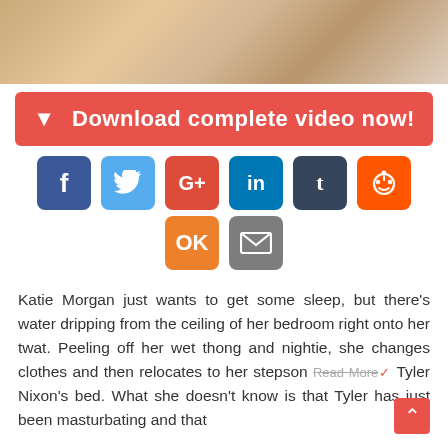[Figure (photo): Partial view of a blonde woman lying down, close-up shot showing hair and body.]
Download complete video now!
[Figure (infographic): Social media sharing icons: Facebook, Twitter, Google+, LinkedIn, Tumblr, Reddit, Odnoklassniki, Email]
Katie Morgan just wants to get some sleep, but there's water dripping from the ceiling of her bedroom right onto her twat. Peeling off her wet thong and nightie, she changes clothes and then relocates to her stepson Tyler Nixon's bed. What she doesn't know is that Tyler has just been masturbating and that